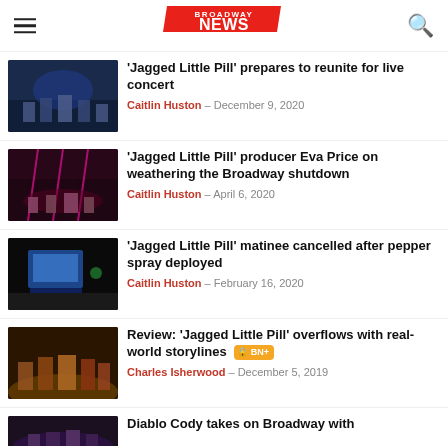Broadway News
[Figure (photo): Cast photo from Jagged Little Pill on stage with blue lighting]
'Jagged Little Pill' prepares to reunite for live concert
Caitlin Huston – December 9, 2020
[Figure (photo): Cast on stage with red lighting for Jagged Little Pill]
'Jagged Little Pill' producer Eva Price on weathering the Broadway shutdown
Caitlin Huston – April 6, 2020
[Figure (photo): Stage with screen showing laptop, dark theater]
'Jagged Little Pill' matinee cancelled after pepper spray deployed
Caitlin Huston – February 16, 2020
[Figure (photo): Cast on stage with warm amber lighting, Jagged Little Pill]
Review: 'Jagged Little Pill' overflows with real-world storylines BN+
Charles Isherwood – December 5, 2019
[Figure (photo): Partial thumbnail of Diablo Cody article]
Diablo Cody takes on Broadway with